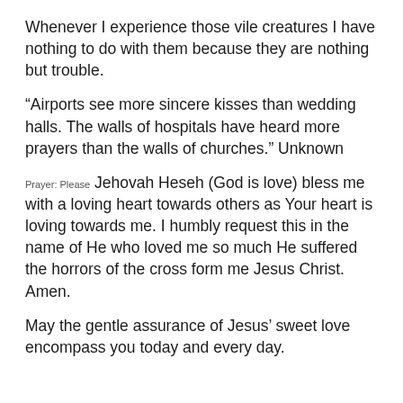Whenever I experience those vile creatures I have nothing to do with them because they are nothing but trouble.
“Airports see more sincere kisses than wedding halls. The walls of hospitals have heard more prayers than the walls of churches.” Unknown
Prayer: Please Jehovah Heseh (God is love) bless me with a loving heart towards others as Your heart is loving towards me. I humbly request this in the name of He who loved me so much He suffered the horrors of the cross form me Jesus Christ. Amen.
May the gentle assurance of Jesus’ sweet love encompass you today and every day.